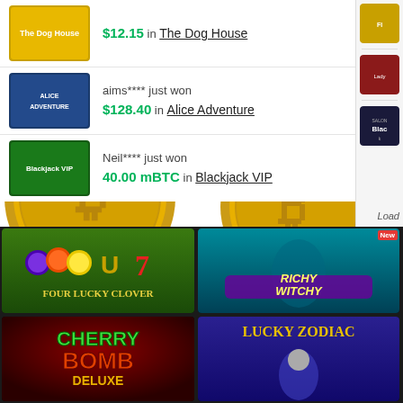$12.15 in The Dog House
aims**** just won $128.40 in Alice Adventure
Neil**** just won 40.00 mBTC in Blackjack VIP
[Figure (screenshot): Bitcoin coins decorative banner spanning the wins section]
[Figure (screenshot): Casino game lobby grid showing Four Lucky Clover, Richy Witchy, Cherry Bomb Deluxe, Lucky Zodiac, and partial other games]